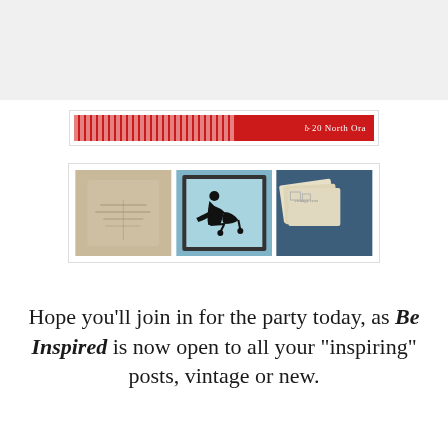[Figure (photo): Gray placeholder area at top of page]
[Figure (photo): Red banner with striped pattern and '20 North Ora' text in white cursive on the right side]
[Figure (photo): Three craft/vintage photos side by side: a burlap pillow with French text, a silhouette artwork of child pushing pram in blue frame, and vintage postcards on blue fabric]
Hope you'll join in for the party today, as Be Inspired is now open to all your "inspiring" posts, vintage or new.